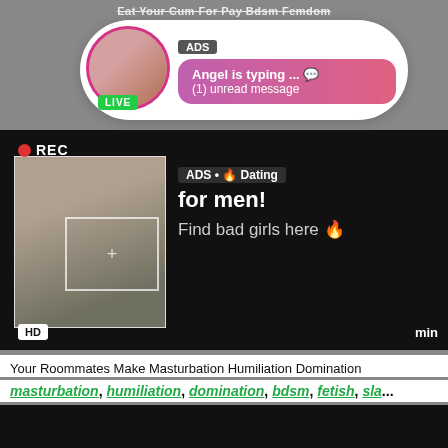Eat Your Cum For Pay Bdsm Femdom
[Figure (screenshot): Ad notification bubble with avatar showing LIVE badge, ADS label, message 'Angel is typing ... (1) unread message' on pink gradient background]
[Figure (screenshot): Video player with REC indicator, HD badge, thumbnail of person taking selfie, ad overlay text 'ADS • Dating for men! Find bad girls here']
Your Roommates Make Masturbation Humiliation Domination
masturbation, humiliation, domination, bdsm, fetish, sla...